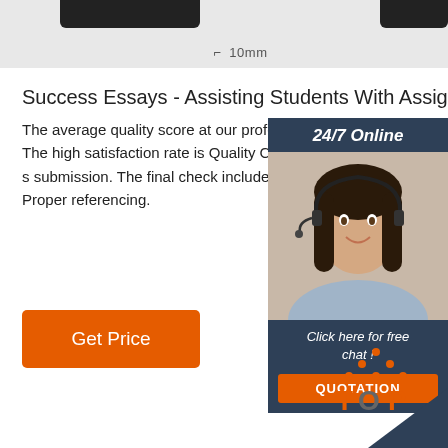[Figure (photo): Top portion showing dark black shapes resembling equipment/tools against grey background with a ruler measurement showing 10mm]
Success Essays - Assisting Students With Assignments Online
The average quality score at our professional custom service is 8.5 out of 10. The high satisfaction rate is Quality Control Department, which checks all papers submission. The final check includes: Compliance w details. Plagiarism. Proper referencing.
[Figure (infographic): 24/7 Online support widget showing a woman with headset smiling, with text 'Click here for free chat!' and an orange QUOTATION button]
[Figure (logo): TOP logo with orange dotted triangle above the word TOP in orange and grey colors]
[Figure (other): Dark navy/teal triangle corner decoration at bottom right]